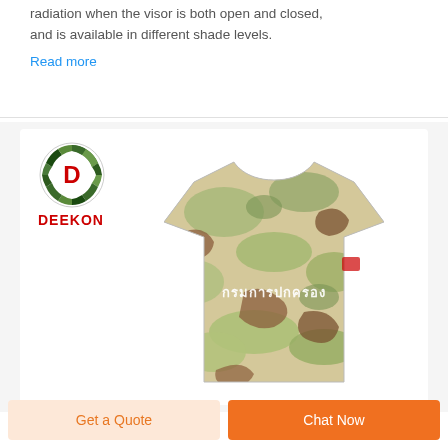radiation when the visor is both open and closed, and is available in different shade levels.
Read more
[Figure (photo): DEEKON brand logo (circular camo-patterned ring with red D in center, red DEEKON text below) alongside a desert camouflage military T-shirt viewed from the back with Thai text 'กรมการปกครอง' printed on it]
Get a Quote
Chat Now